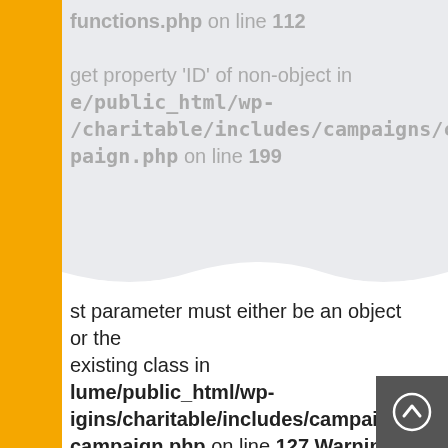functions.php on line 112
get property 'ID' of non-object in /e/public_html/wp-/charitable/includes/campaigns/class-paign.php on line 199
st parameter must either be an object or the existing class in /lume/public_html/wp-igins/charitable/includes/campaigns/class-campaign.php on line 127 Warning: First must either be an object or the name of an ss in /home/weillume/public_html/wp-/charitable/includes/campaigns/class-